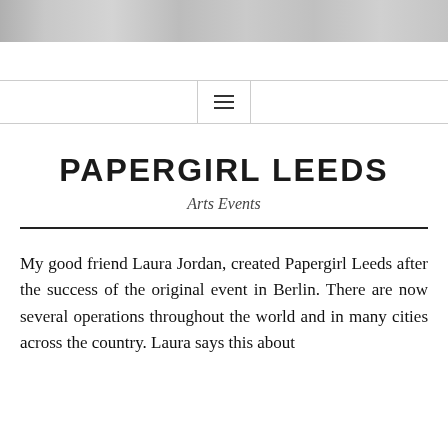[Figure (photo): Header banner image, appears to be a wide cropped photograph in grayscale/muted tones]
[Figure (other): Navigation bar with hamburger menu icon (three horizontal lines) centered]
PAPERGIRL LEEDS
Arts Events
My good friend Laura Jordan, created Papergirl Leeds after the success of the original event in Berlin. There are now several operations throughout the world and in many cities across the country. Laura says this about